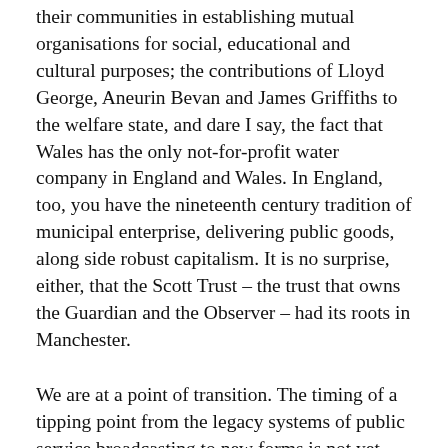their communities in establishing mutual organisations for social, educational and cultural purposes; the contributions of Lloyd George, Aneurin Bevan and James Griffiths to the welfare state, and dare I say, the fact that Wales has the only not-for-profit water company in England and Wales. In England, too, you have the nineteenth century tradition of municipal enterprise, delivering public goods, along side robust capitalism. It is no surprise, either, that the Scott Trust – the trust that owns the Guardian and the Observer – had its roots in Manchester.
We are at a point of transition. The timing of a tipping point from the legacy systems of public service broadcasting to new forms is not yet clear, if indeed it will ever be that clear-cut. There will be, and needs to be a period of co-existence, for there is currently no equivalence between the old and the new, in purpose or reach. We may see the continuation of that paradox